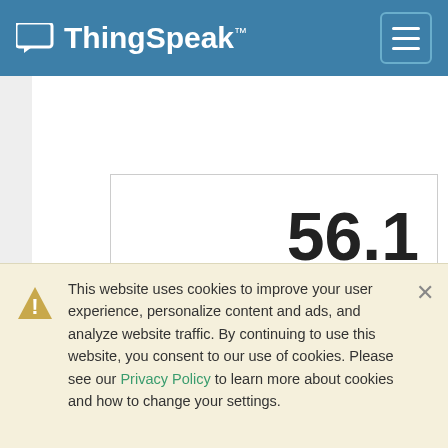ThingSpeak™
[Figure (other): Numeric gauge display showing the value 56.1 in large bold text inside a bordered rectangle]
24 minutes ago
This website uses cookies to improve your user experience, personalize content and ads, and analyze website traffic. By continuing to use this website, you consent to our use of cookies. Please see our Privacy Policy to learn more about cookies and how to change your settings.